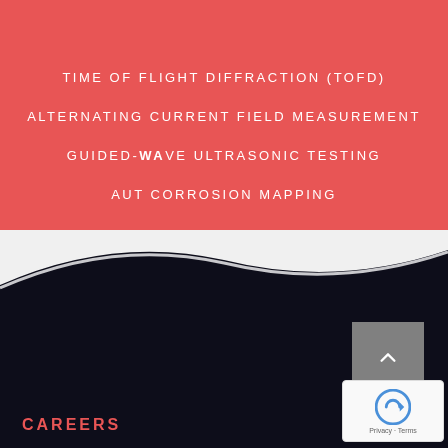TIME OF FLIGHT DIFFRACTION (TOFD)
ALTERNATING CURRENT FIELD MEASUREMENT
GUIDED-WAVE ULTRASONIC TESTING
AUT CORROSION MAPPING
[Figure (illustration): Wave-shaped transition from red/white to dark navy background, with a scroll-to-top button and reCAPTCHA badge in the bottom-right]
CAREERS